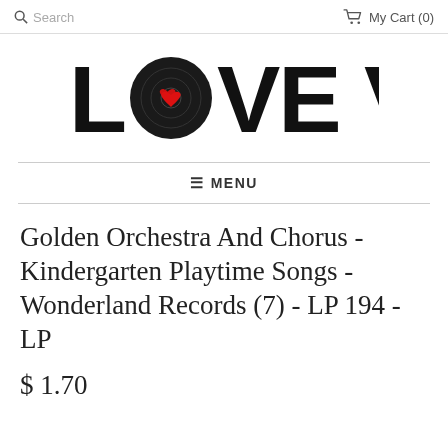Search  My Cart (0)
[Figure (logo): Love Vinyl logo — bold black text 'LOVE VINYL' with a vinyl record replacing the letter 'O' in LOVE, with a red heart in the center of the record]
≡ MENU
Golden Orchestra And Chorus - Kindergarten Playtime Songs - Wonderland Records (7) - LP 194 - LP
$ 1.70